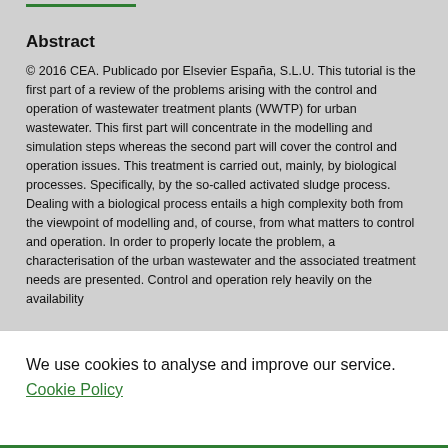Abstract
© 2016 CEA. Publicado por Elsevier España, S.L.U. This tutorial is the first part of a review of the problems arising with the control and operation of wastewater treatment plants (WWTP) for urban wastewater. This first part will concentrate in the modelling and simulation steps whereas the second part will cover the control and operation issues. This treatment is carried out, mainly, by biological processes. Specifically, by the so-called activated sludge process. Dealing with a biological process entails a high complexity both from the viewpoint of modelling and, of course, from what matters to control and operation. In order to properly locate the problem, a characterisation of the urban wastewater and the associated treatment needs are presented. Control and operation rely heavily on the availability
We use cookies to analyse and improve our service. Cookie Policy